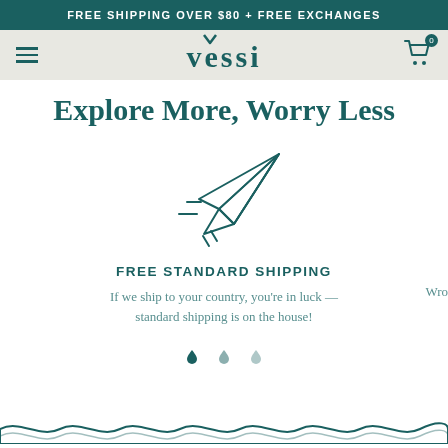FREE SHIPPING OVER $80 + FREE EXCHANGES
[Figure (logo): Vessi logo with hamburger menu and cart icon with 0 badge]
Explore More, Worry Less
[Figure (illustration): Paper plane icon with motion lines indicating flying]
FREE STANDARD SHIPPING
If we ship to your country, you're in luck — standard shipping is on the house!
[Figure (illustration): Three water drop/raindrop icons in a row (carousel indicators)]
[Figure (illustration): Wave pattern footer decoration]